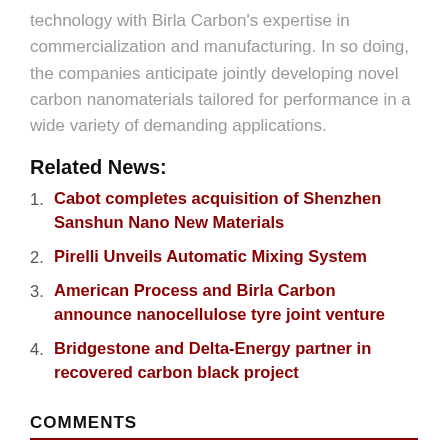technology with Birla Carbon's expertise in commercialization and manufacturing. In so doing, the companies anticipate jointly developing novel carbon nanomaterials tailored for performance in a wide variety of demanding applications.
Related News:
Cabot completes acquisition of Shenzhen Sanshun Nano New Materials
Pirelli Unveils Automatic Mixing System
American Process and Birla Carbon announce nanocellulose tyre joint venture
Bridgestone and Delta-Energy partner in recovered carbon black project
COMMENTS
Comments closed
SHARE THIS ENTRY